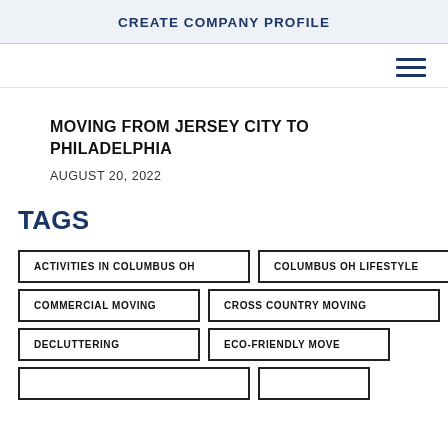CREATE COMPANY PROFILE
MOVING FROM JERSEY CITY TO PHILADELPHIA
AUGUST 20, 2022
TAGS
ACTIVITIES IN COLUMBUS OH
COLUMBUS OH LIFESTYLE
COMMERCIAL MOVING
CROSS COUNTRY MOVING
DECLUTTERING
ECO-FRIENDLY MOVE